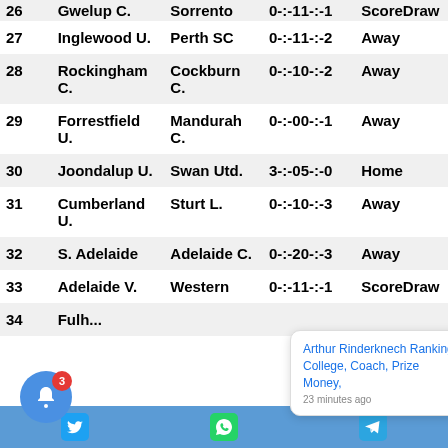| # | Home | Away | Score | Result |
| --- | --- | --- | --- | --- |
| 26 | Gwelup C. | Sorrento | 0-:-11-:-1 | ScoreDraw |
| 27 | Inglewood U. | Perth SC | 0-:-11-:-2 | Away |
| 28 | Rockingham C. | Cockburn C. | 0-:-10-:-2 | Away |
| 29 | Forrestfield U. | Mandurah C. | 0-:-00-:-1 | Away |
| 30 | Joondalup U. | Swan Utd. | 3-:-05-:-0 | Home |
| 31 | Cumberland U. | Sturt L. | 0-:-10-:-3 | Away |
| 32 | S. Adelaide | Adelaide C. | 0-:-20-:-3 | Away |
| 33 | Adelaide V. | Western | 0-:-11-:-1 | ScoreDraw |
| 34 | Fulh... |  |  |  |